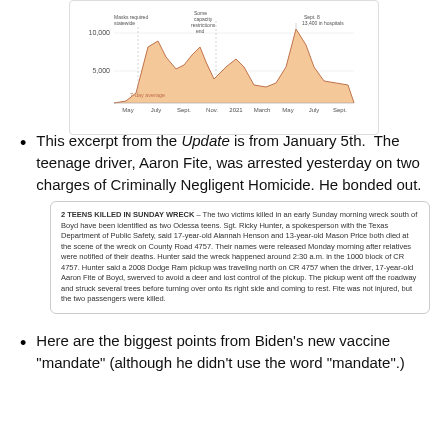[Figure (area-chart): Area chart showing Texas COVID hospitalizations over time from May 2020 to Sept 2021, with peaks around July 2020 (~10,000), Nov 2020, Jan 2021, and Sept 8 (~13,400). Annotations include 'Masks required statewide', 'Some capacity restrictions end', and '7-day average'. X-axis labels: May, July, Sept., Nov., 2021, March, May, July, Sept. Y-axis labels: 5,000, 10,000.]
This excerpt from the Update is from January 5th.  The teenage driver, Aaron Fite, was arrested yesterday on two charges of Criminally Negligent Homicide. He bonded out.
[Figure (screenshot): News clipping: '2 TEENS KILLED IN SUNDAY WRECK – The two victims killed in an early Sunday morning wreck south of Boyd have been identified as two Odessa teens. Sgt. Ricky Hunter, a spokesperson with the Texas Department of Public Safety, said 17-year-old Alannah Henson and 13-year-old Mason Price both died at the scene of the wreck on County Road 4757. Their names were released Monday morning after relatives were notified of their deaths. Hunter said the wreck happened around 2:30 a.m. in the 1000 block of CR 4757. Hunter said a 2008 Dodge Ram pickup was traveling north on CR 4757 when the driver, 17-year-old Aaron Fite of Boyd, swerved to avoid a deer and lost control of the pickup. The pickup went off the roadway and struck several trees before turning over onto its right side and coming to rest. Fite was not injured, but the two passengers were killed.']
Here are the biggest points from Biden's new vaccine "mandate" (although he didn't use the word "mandate".)